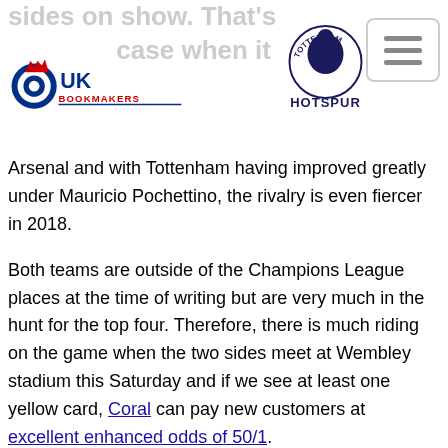sides on show. That's ... case when it ...
[Figure (logo): UK Bookmakers logo with target/crown icon in red, white, and blue]
[Figure (logo): Tottenham Hotspur circular crest logo in navy and gold]
Arsenal and with Tottenham having improved greatly under Mauricio Pochettino, the rivalry is even fiercer in 2018.
Both teams are outside of the Champions League places at the time of writing but are very much in the hunt for the top four. Therefore, there is much riding on the game when the two sides meet at Wembley stadium this Saturday and if we see at least one yellow card, Coral can pay new customers at excellent enhanced odds of 50/1.